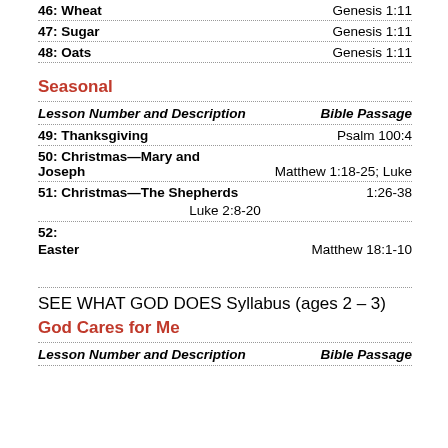46: Wheat
47: Sugar
48: Oats
Seasonal
| Lesson Number and Description | Bible Passage |
| --- | --- |
| 49: Thanksgiving | Psalm 100:4 |
| 50: Christmas—Mary and Joseph | Matthew 1:18-25; Luke 1:26-38 |
| 51: Christmas—The Shepherds | Luke 2:8-20 |
| 52: Easter | Matthew 18:1-10 |
SEE WHAT GOD DOES Syllabus (ages 2 – 3)
God Cares for Me
| Lesson Number and Description | Bible Passage |
| --- | --- |